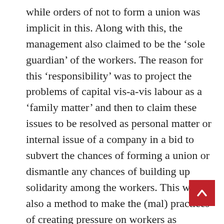while orders of not to form a union was implicit in this. Along with this, the management also claimed to be the ‘sole guardian’ of the workers. The reason for this ‘responsibility’ was to project the problems of capital vis-a-vis labour as a ‘family matter’ and then to claim these issues to be resolved as personal matter or internal issue of a company in a bid to subvert the chances of forming a union or dismantle any chances of building up solidarity among the workers. This was also a method to make the (mal) practices of creating pressure on workers as bearable. In this new ‘development’ model such industrial culture, planning and socio-economic system became an important tool for workers’ suppression.

The July 18, ’12 incident (where a HR manager was